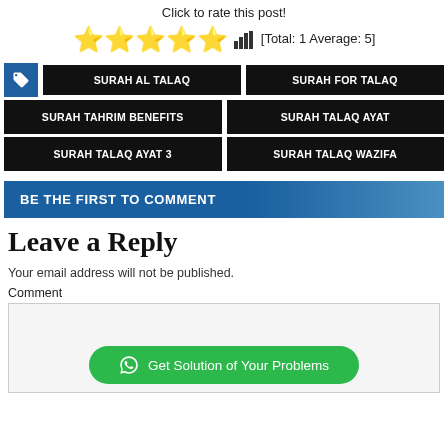Click to rate this post!
[Figure (other): Five gold star rating icons with bar chart icon and text [Total: 1 Average: 5]]
SURAH AL TALAQ
SURAH FOR TALAQ
SURAH TAHRIM BENEFITS
SURAH TALAQ AYAT
SURAH TALAQ AYAT 3
SURAH TALAQ WAZIFA
BE THE FIRST TO COMMENT
Leave a Reply
Your email address will not be published.
Comment
[Figure (screenshot): Comment text area input box with WhatsApp button labeled Get Solution of Your Problems]